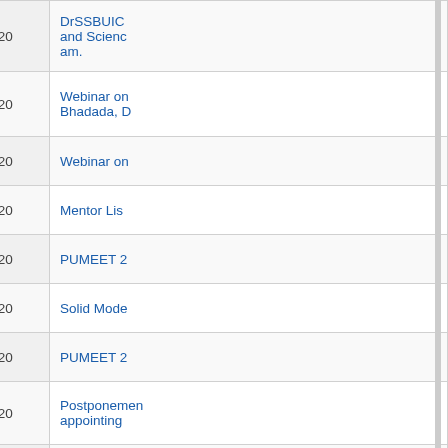| # | Date | Description |
| --- | --- | --- |
| 418. | 01/06/2020 | DrSSBUIC and Scienc am. |
| 419. | 25/05/2020 | Webinar on Bhadada, D |
| 420. | 23/05/2020 | Webinar on |
| 421. | 21/05/2020 | Mentor Lis |
| 422. | 04/05/2020 | PUMEET 2 |
| 423. | 25/04/2020 | Solid Mode |
| 424. | 25/04/2020 | PUMEET 2 |
| 425. | 20/03/2020 | Postponemen appointing |
| 426. | 16/03/2020 | Walk-in-Int Engineerin |
| 427. | 06/03/2020 | Project Ass |
| 428. | 06/01/2020 | Ph.D. viva at Seminar |
| 429. | 02/12/2019 | Junior Res |
| 430. | 05/11/2019 | UGC MRP |
| 431. | 14/10/2019 | Walk-in-In |